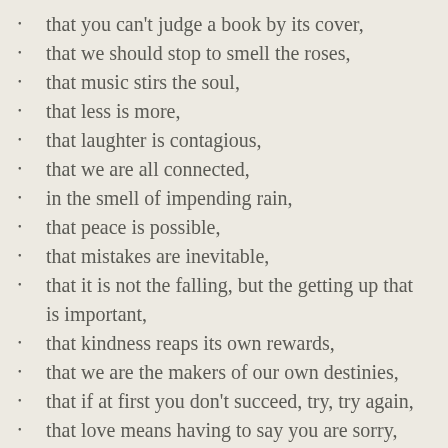that you can't judge a book by its cover,
that we should stop to smell the roses,
that music stirs the soul,
that less is more,
that laughter is contagious,
that we are all connected,
in the smell of impending rain,
that peace is possible,
that mistakes are inevitable,
that it is not the falling, but the getting up that is important,
that kindness reaps its own rewards,
that we are the makers of our own destinies,
that if at first you don't succeed, try, try again,
that love means having to say you are sorry,
that “being” is more important than “doing,”
that when I am gone, I want to leave the world better than I found it,